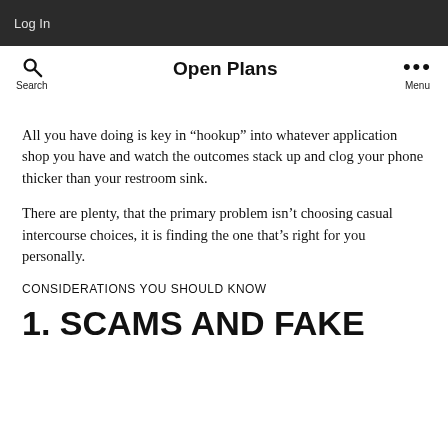Log In
Open Plans
All you have doing is key in “hookup” into whatever application shop you have and watch the outcomes stack up and clog your phone thicker than your restroom sink.
There are plenty, that the primary problem isn’t choosing casual intercourse choices, it is finding the one that’s right for you personally.
CONSIDERATIONS YOU SHOULD KNOW
1. SCAMS AND FAKE